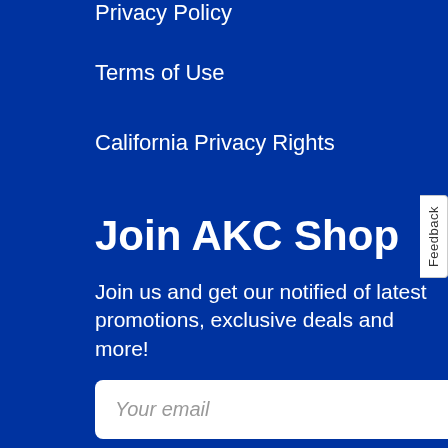Privacy Policy
Terms of Use
California Privacy Rights
Join AKC Shop
Join us and get our notified of latest promotions, exclusive deals and more!
Your email